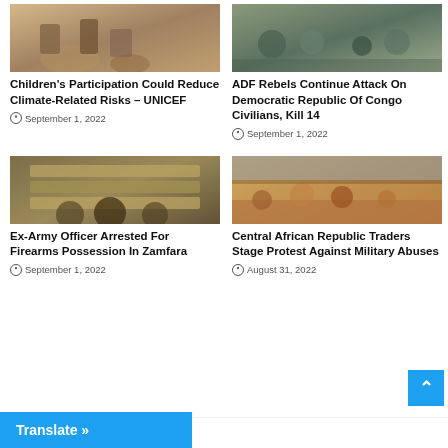[Figure (photo): Children in sandy area, climate/environment context]
Children's Participation Could Reduce Climate-Related Risks – UNICEF
September 1, 2022
[Figure (photo): Group of people including children, DRC context]
ADF Rebels Continue Attack On Democratic Republic Of Congo Civilians, Kill 14
September 1, 2022
[Figure (photo): Ammunition casings and firearms on table]
Ex-Army Officer Arrested For Firearms Possession In Zamfara
September 1, 2022
[Figure (photo): Street market scene with traders and people, Central African Republic]
Central African Republic Traders Stage Protest Against Military Abuses
August 31, 2022
Leave a Reply
Translate »